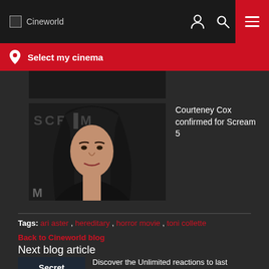Cineworld
Select my cinema
[Figure (photo): Partial top image strip visible at top of content area]
[Figure (photo): Photo of Courteney Cox at a Scream event, dark background, text 'SCREAM' partially visible]
Courteney Cox confirmed for Scream 5
Tags: ari aster , hereditary , horror movie , toni collette
Back to Cineworld blog
Next blog article
[Figure (photo): Thumbnail for Secret Unlimited article with bold text 'Secret Unlimited']
Discover the Unlimited reactions to last night's incredible Secret Screening